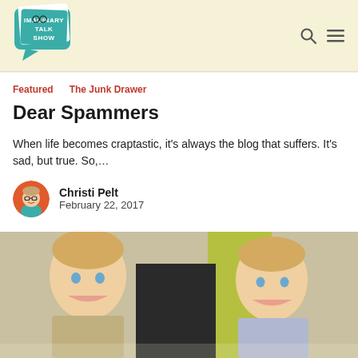[Figure (logo): Imaginary Talk Show logo — teal speech bubble with hand-drawn text]
Featured  The Junk Drawer
Dear Spammers
When life becomes craptastic, it's always the blog that suffers. It's sad, but true. So,…
[Figure (illustration): Circular author avatar: cartoon illustration of a woman with glasses and blue top]
Christi Pelt
February 22, 2017
[Figure (photo): Photo showing two young blond boys smiling, side by side, with a colorful background]